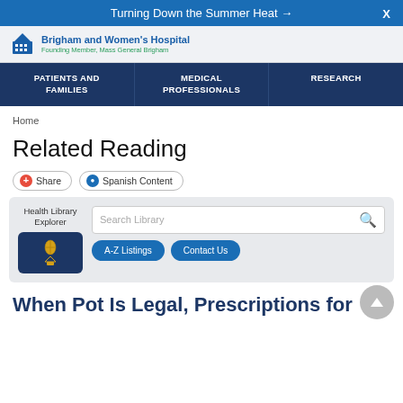Turning Down the Summer Heat →  X
[Figure (logo): Brigham and Women's Hospital logo with building icon, Founding Member, Mass General Brigham]
PATIENTS AND FAMILIES | MEDICAL PROFESSIONALS | RESEARCH
Home
Related Reading
Share   Spanish Content
Health Library Explorer   Search Library   A-Z Listings   Contact Us
When Pot Is Legal, Prescriptions for